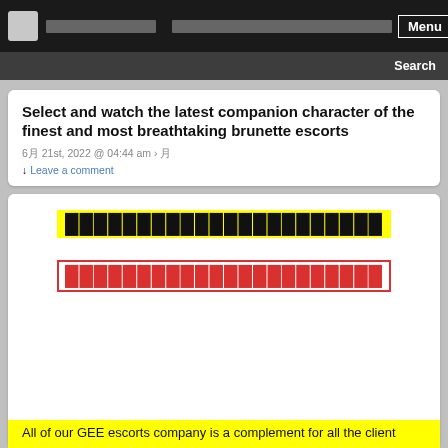[navigation bar with logo, site title, and Menu button]
Search
Select and watch the latest companion character of the finest and most breathtaking brunette escorts
6月 21st, 2022 @ 04:44 am › 月
↓ Leave a comment
[Figure (other): Yellow highlighted block of Thai characters]
[Figure (other): Red outlined block of Thai characters]
All of our GEE escorts company is a complement for all the client